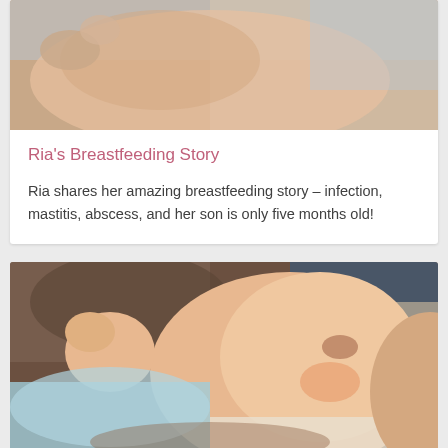[Figure (photo): Partial photo of breastfeeding scene, cropped at top]
Ria's Breastfeeding Story
Ria shares her amazing breastfeeding story – infection, mastitis, abscess, and her son is only five months old!
[Figure (photo): Photo of a newborn baby crying while being held close to mother's chest, baby wearing light blue clothing]